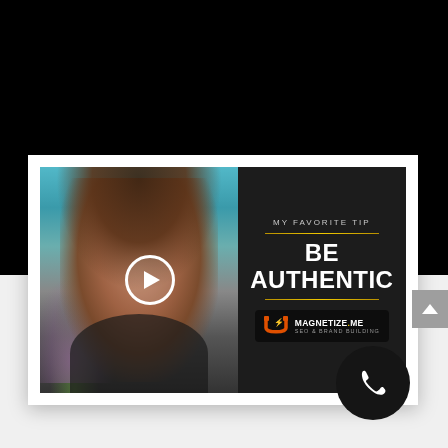[Figure (screenshot): A video thumbnail screenshot showing a smiling woman in front of an aquarium background. The right side has a dark panel reading 'MY FAVORITE TIP / BE AUTHENTIC' with gold horizontal lines and the Magnetize.Me SEO & Brand Building logo. A circular play button overlay is visible in the center-left. The image is embedded in a white card on a dark background. A gray scroll-up arrow button appears on the right edge, and a black circular phone icon button appears in the lower right.]